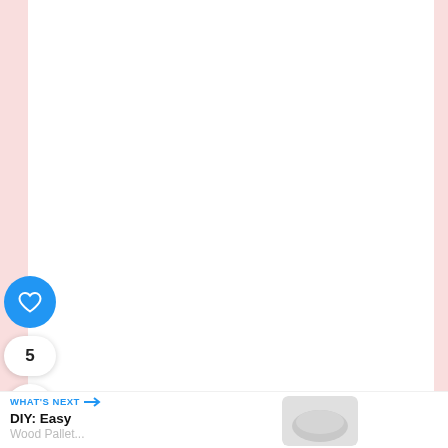[Figure (screenshot): App screenshot showing a white content area with pink/rose sidebar strips on left and right, a blue circular heart/like button, a count badge showing '5', a share button, and a 'What's Next' bar at the bottom with text 'DIY: Easy Wood Pallet...' and a thumbnail image.]
5
WHAT'S NEXT →
DIY: Easy
Wood Pallet...